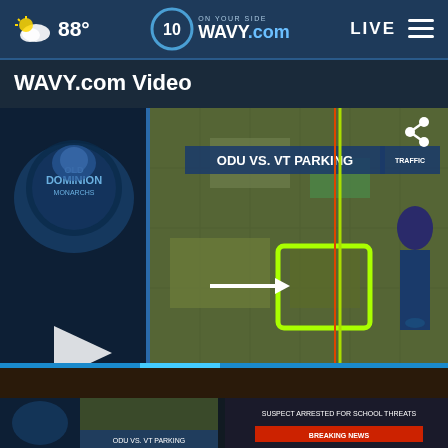88° WAVY.com On Your Side — LIVE
WAVY.com Video
[Figure (screenshot): News broadcast screenshot showing a female reporter in front of a map graphic labeled ODU VS. VT PARKING with an aerial view map. Left side shows Old Dominion Monarchs logo with a play button overlay.]
[Figure (screenshot): Small thumbnail of a broadcast video about ODU vs VT.]
[Figure (screenshot): Small thumbnail showing breaking news: SUSPECT ARRESTED FOR SCHOOL THREATS.]